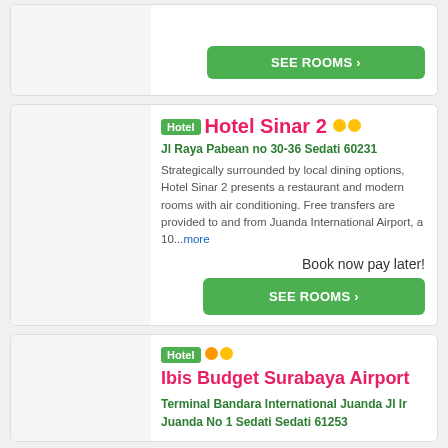[Figure (other): Top card with green SEE ROOMS button, partially visible]
Hotel Hotel Sinar 2
Jl Raya Pabean no 30-36 Sedati 60231
Strategically surrounded by local dining options, Hotel Sinar 2 presents a restaurant and modern rooms with air conditioning. Free transfers are provided to and from Juanda International Airport, a 10...more
Book now pay later!
SEE ROOMS ›
Hotel Ibis Budget Surabaya Airport
Terminal Bandara International Juanda Jl Ir Juanda No 1 Sedati Sedati 61253